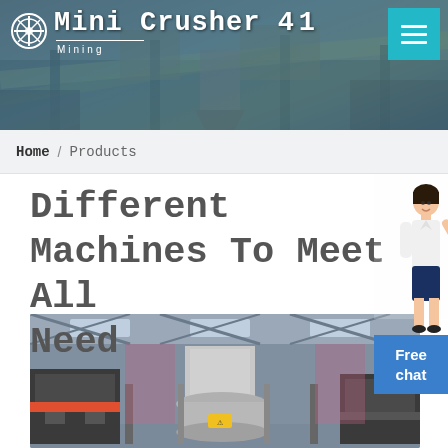Mini Crusher 4 1 Mining
Home / Products
Different Machines To Meet All Need
[Figure (photo): Industrial crusher machine inside a large factory/warehouse with steel structure roof, showing a vertical shaft impact crusher in the center, with other machinery visible in the background.]